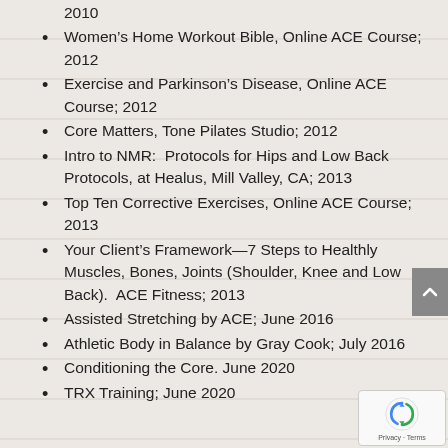2010
Women's Home Workout Bible, Online ACE Course; 2012
Exercise and Parkinson's Disease, Online ACE Course; 2012
Core Matters, Tone Pilates Studio; 2012
Intro to NMR:  Protocols for Hips and Low Back Protocols, at Healus, Mill Valley, CA; 2013
Top Ten Corrective Exercises, Online ACE Course; 2013
Your Client's Framework—7 Steps to Healthly Muscles, Bones, Joints (Shoulder, Knee and Low Back).  ACE Fitness; 2013
Assisted Stretching by ACE; June 2016
Athletic Body in Balance by Gray Cook; July 2016
Conditioning the Core. June 2020
TRX Training; June 2020